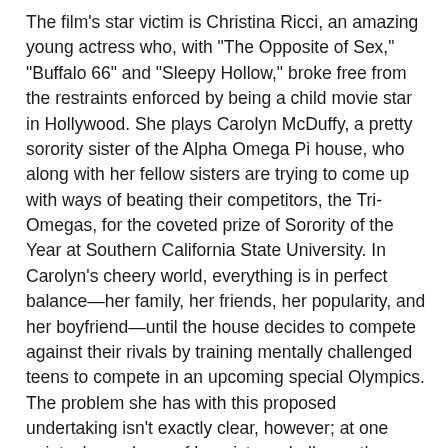The film's star victim is Christina Ricci, an amazing young actress who, with "The Opposite of Sex," "Buffalo 66" and "Sleepy Hollow," broke free from the restraints enforced by being a child movie star in Hollywood. She plays Carolyn McDuffy, a pretty sorority sister of the Alpha Omega Pi house, who along with her fellow sisters are trying to come up with ways of beating their competitors, the Tri-Omegas, for the coveted prize of Sorority of the Year at Southern California State University. In Carolyn's cheery world, everything is in perfect balance—her family, her friends, her popularity, and her boyfriend—until the house decides to compete against their rivals by training mentally challenged teens to compete in an upcoming special Olympics. The problem she has with this proposed undertaking isn't exactly clear, however; at one point, she and one of her sisters challenge the questionable motives behind the sorority's undertaking, and later during the actual training, she runs away screaming like a banshee, upset that her challenged athlete is even looking at her.
The athlete in question, incidentally, is where "Pumpkin" gets its title; it's the offbeat name assigned to a quiet, wheelchair